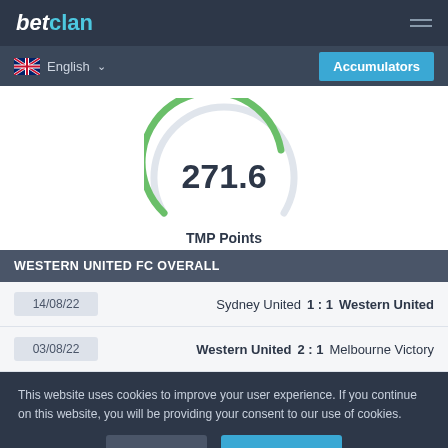betclan
English  Accumulators
[Figure (other): Circular gauge showing 271.6 TMP Points with a green arc indicator]
TMP Points
WESTERN UNITED FC OVERALL
14/08/22  Sydney United  1 : 1  Western United
03/08/22  Western United  2 : 1  Melbourne Victory
This website uses cookies to improve your user experience. If you continue on this website, you will be providing your consent to our use of cookies.
Info  Accept